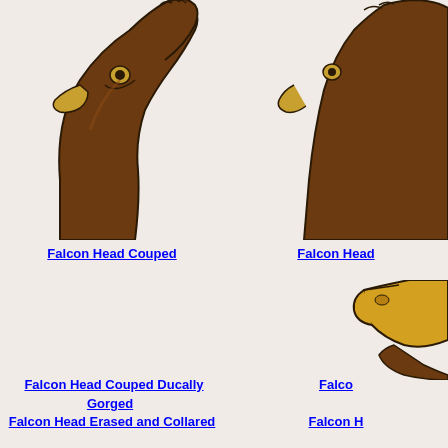[Figure (illustration): Falcon Head Couped heraldic illustration - brown falcon head facing left, cropped, top portion visible]
Falcon Head Couped
[Figure (illustration): Falcon Head (partial name cut off) heraldic illustration - brown falcon head partially visible on right edge]
Falcon Head
[Figure (illustration): Falcon Head Couped Ducally Gorged heraldic illustration - mostly blank area with label, image partially shown]
Falcon Head Couped Ducally Gorged
[Figure (illustration): Falcon (partial name cut off) heraldic illustration - yellow beak and brown feathered neck visible on right side]
Falco
[Figure (illustration): Falcon Head Erased and Collared heraldic illustration - brown falcon head with brown feathers visible at bottom left]
Falcon Head Erased and Collared
[Figure (illustration): Falcon H (partial name cut off) heraldic illustration on right side]
Falcon H